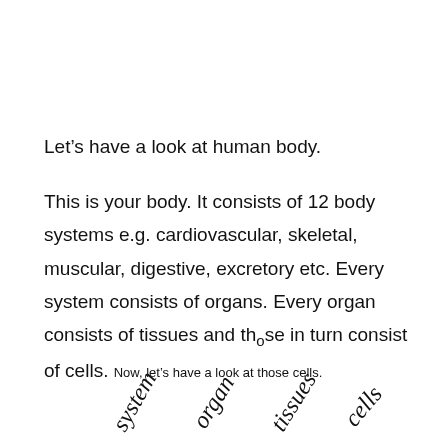Let’s have a look at human body.
This is your body. It consists of 12 body systems e.g. cardiovascular, skeletal, muscular, digestive, excretory etc. Every system consists of organs. Every organ consists of tissues and those in turn consist of cells. Now, let’s have a look at those cells.
[Figure (illustration): Four rotated italic handwritten-style labels arranged in a row: system, organ, tissues, cells — shown above corresponding icons]